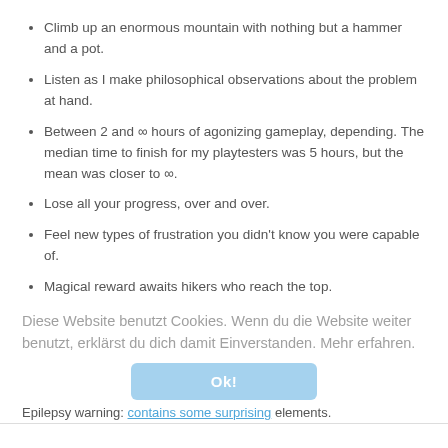Climb up an enormous mountain with nothing but a hammer and a pot.
Listen as I make philosophical observations about the problem at hand.
Between 2 and ∞ hours of agonizing gameplay, depending. The median time to finish for my playtesters was 5 hours, but the mean was closer to ∞.
Lose all your progress, over and over.
Feel new types of frustration you didn't know you were capable of.
Magical reward awaits hikers who reach the top.
Epilepsy warning: contains some surprising elements.